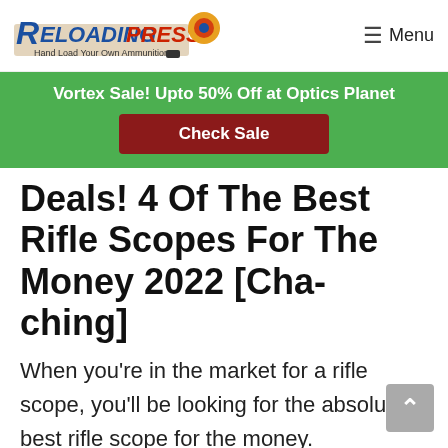[Figure (logo): ReloadingPress logo - stylized text with blue and red lettering and a sun/gear icon, tagline: Hand Load Your Own Ammunition]
≡ Menu
Vortex Sale! Upto 50% Off at Optics Planet
Check Sale
Deals! 4 Of The Best Rifle Scopes For The Money 2022 [Cha-ching]
When you're in the market for a rifle scope, you'll be looking for the absolute best rifle scope for the money. Unfortunately, many people